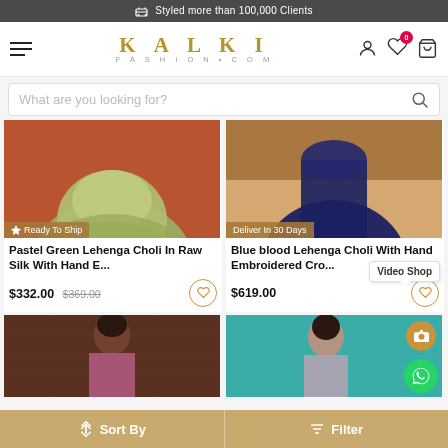🚚 Styled more than 100,000 Clients
[Figure (screenshot): Kalki Fashion website navigation bar with hamburger menu, KALKI FASHION.COM logo in gold, and icons for account, wishlist (with badge 0), and cart]
What are you looking for? (search bar)
[Figure (photo): Pastel green lehenga choli on orange/terracotta background, lower half of outfit visible. Badge: Ready To Ship]
Pastel Green Lehenga Choli In Raw Silk With Hand E...
$332.00  $369.00
[Figure (photo): Blue/navy lehenga choli with hand embroidered crop top, model standing outdoors. Badge: Deliver In 30 Days]
Blue blood Lehenga Choli With Hand Embroidered Cro...
$619.00
[Figure (photo): Model in pink outfit against brown architectural background]
[Figure (photo): Model in light pink/lavender outfit against teal background with Video Shop bubble and WhatsApp icon]
↕ Sort By    ≡ Filter